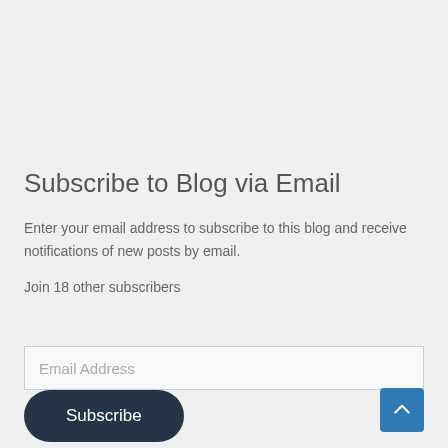Subscribe to Blog via Email
Enter your email address to subscribe to this blog and receive notifications of new posts by email.
Join 18 other subscribers